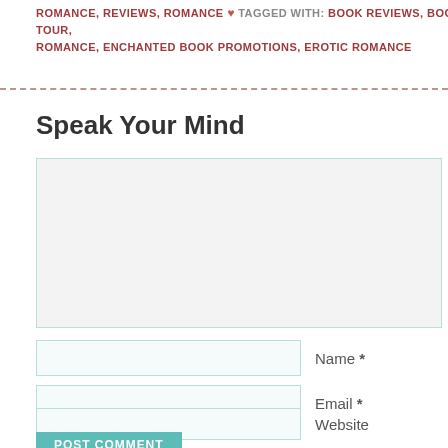ROMANCE, REVIEWS, ROMANCE ♥ TAGGED WITH: BOOK REVIEWS, BOOK TOUR, ROMANCE, ENCHANTED BOOK PROMOTIONS, EROTIC ROMANCE
Speak Your Mind
Name *
Email *
Website
POST COMMENT